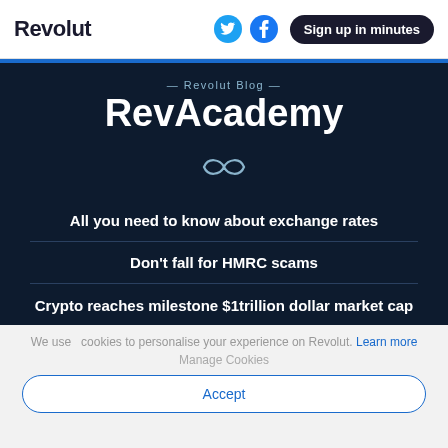Revolut | Sign up in minutes
— Revolut Blog — RevAcademy
[Figure (illustration): Infinity symbol (∞) in light blue outline on dark background]
All you need to know about exchange rates
Don't fall for HMRC scams
Crypto reaches milestone $1trillion dollar market cap
We use cookies to personalise your experience on Revolut. Learn more
Manage Cookies
Accept